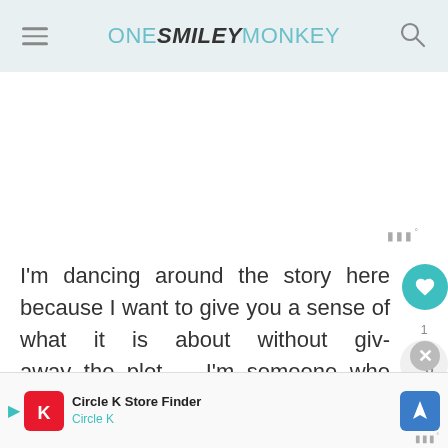ONE SMILEY MONKEY
I'm dancing around the story here because I want to give you a sense of what it is about without giving away the plot. I'm someone who enjoys the excitement of the moment when you sit down to read (You can
[Figure (screenshot): Circle K Store Finder advertisement banner at bottom of page]